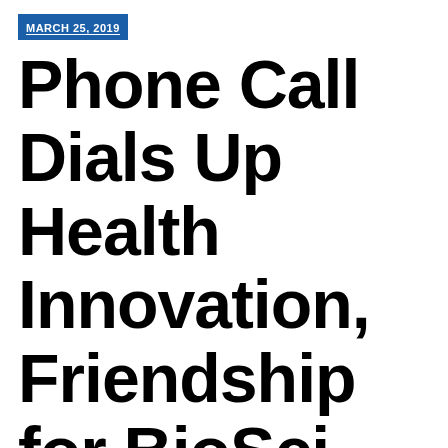MARCH 25, 2019
Phone Call Dials Up Health Innovation, Friendship for BioSci Alums